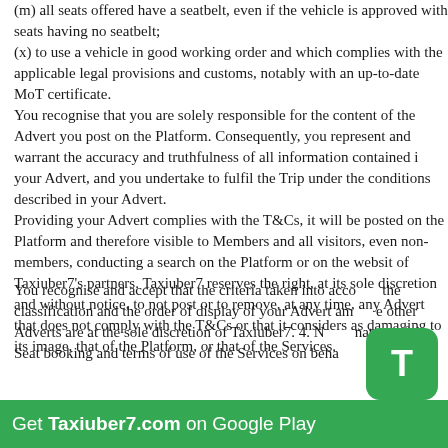(m) all seats offered have a seatbelt, even if the vehicle is approved with seats having no seatbelt;
(x) to use a vehicle in good working order and which complies with the applicable legal provisions and customs, notably with an up-to-date MoT certificate.
You recognise that you are solely responsible for the content of the Advert you post on the Platform. Consequently, you represent and warrant the accuracy and truthfulness of all information contained in your Advert, and you undertake to fulfil the Trip under the conditions described in your Advert.
Providing your Advert complies with the T&Cs, it will be posted on the Platform and therefore visible to Members and all visitors, even non-members, conducting a search on the Platform or on the website of Taxiuber7's partners. Taxiuber7 reserves the right, at its sole discretion and without notice, to not post or to remove, at any time, any Advert that does not comply with the T&Cs or that it considers as damaging to its image, that of the Platform, or that of the Services.
You recognise and accept that the criteria taken into account the classification and the order of display of your Advert among other Adverts are at the sole discretion of Taxiuber7. 4. N nature of the Seat booking and terms of use of the Services on beha
[Figure (other): Green app banner at bottom with T icon and text: Get Taxiuber7.com on Google Play]